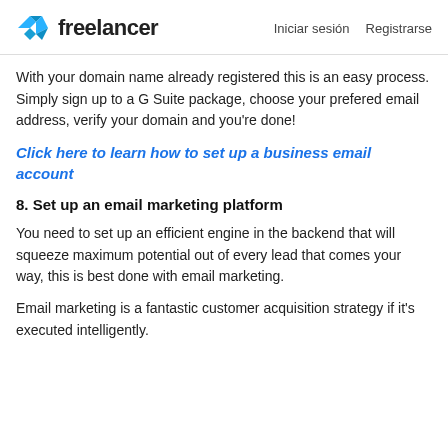freelancer  Iniciar sesión  Registrarse
With your domain name already registered this is an easy process. Simply sign up to a G Suite package, choose your prefered email address, verify your domain and you're done!
Click here to learn how to set up a business email account
8. Set up an email marketing platform
You need to set up an efficient engine in the backend that will squeeze maximum potential out of every lead that comes your way, this is best done with email marketing.
Email marketing is a fantastic customer acquisition strategy if it's executed intelligently.